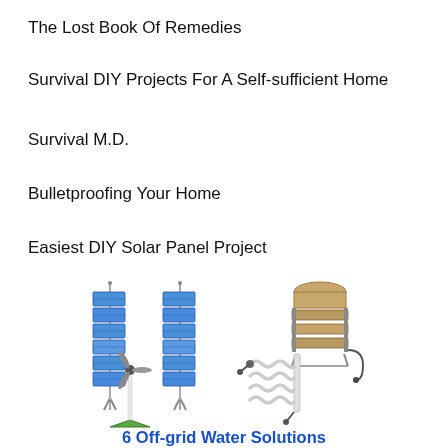The Lost Book Of Remedies
Survival DIY Projects For A Self-sufficient Home
Survival M.D.
Bulletproofing Your Home
Easiest DIY Solar Panel Project
[Figure (illustration): Six off-grid water solution devices: two blue solar panel arrays on stands, one tan/beige water filtration tower, a small wind turbine on a green triangular base, and a coiled tube water purification device with connectors.]
6 Off-grid Water Solutions